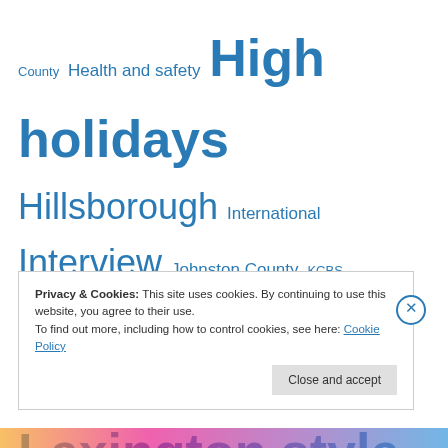County Health and safety High holidays Hillsborough International Interview Johnston County KCBS Keeping the faith Lexington Lexington style Logos and signs Mebane Mecklenburg County Music Odds & ends Orange County Outside NC Pig pickin' Pitt County Pork barrel politics Raleigh Recipes Religion Rowan County Salisbury Sex Shameless
Privacy & Cookies: This site uses cookies. By continuing to use this website, you agree to their use. To find out more, including how to control cookies, see here: Cookie Policy
Close and accept